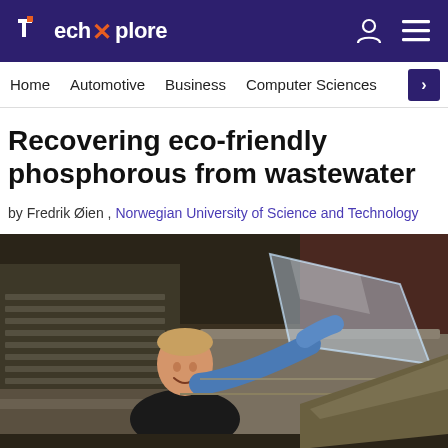TechXplore
Home  Automotive  Business  Computer Sciences  >
Recovering eco-friendly phosphorous from wastewater
by Fredrik Øien , Norwegian University of Science and Technology
[Figure (photo): A smiling man in a black shirt and blue glove holds up a clear acrylic panel on industrial wastewater treatment equipment. The setting is an industrial facility with metal machinery.]